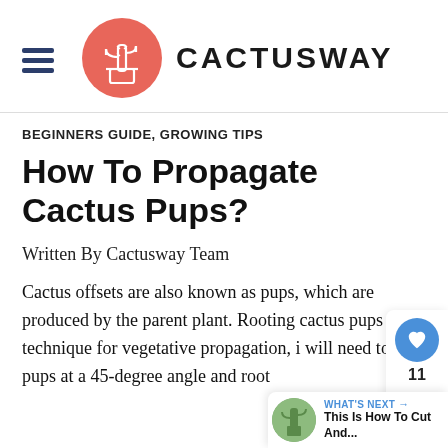[Figure (logo): Cactusway website header with hamburger menu icon, circular salmon/red logo with cactus illustration, and CACTUSWAY text in bold uppercase]
BEGINNERS GUIDE, GROWING TIPS
How To Propagate Cactus Pups?
Written By Cactusway Team
Cactus offsets are also known as pups, which are produced by the parent plant. Rooting cactus pups is a technique for vegetative propagation, i will need to cut pups at a 45-degree angle and root